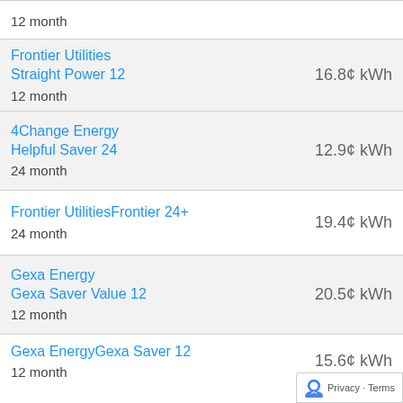12 month
Frontier Utilities Straight Power 12
12 month
16.8¢ kWh
4Change Energy Helpful Saver 24
24 month
12.9¢ kWh
Frontier UtilitiesFrontier 24+
24 month
19.4¢ kWh
Gexa Energy Gexa Saver Value 12
12 month
20.5¢ kWh
Gexa EnergyGexa Saver 12
12 month
15.6¢ kWh